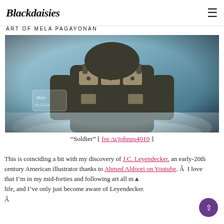Blackdaisies — ART OF MELA PAGAYONAN
[Figure (illustration): Digital painting of a soldier in military tactical vest/gear, shown from torso up, with a teal/blue-grey misty background. Artist signature visible in lower-left area of artwork.]
“Soldier” [ for /u/johnps4010 ]
This is coinciding a bit with my discovery of J.C. Leyendecker, an early-20th century American illustrator thanks to Ahmed Aldoori on Youtube. Â  I love that I’m in my mid-forties and following art all my life, and I’ve only just become aware of Leyendecker. Â  I’ve never been so fascinated by a painter’s technique …